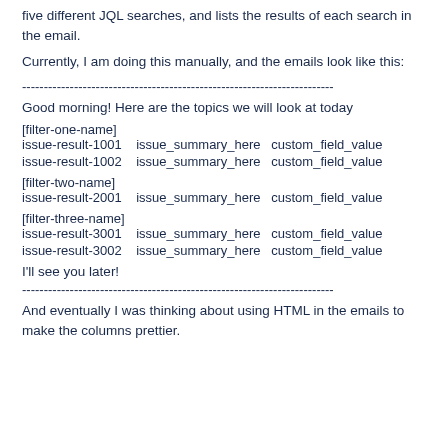five different JQL searches, and lists the results of each search in the email.
Currently, I am doing this manually, and the emails look like this:
------------------------------------------------------------------------
Good morning! Here are the topics we will look at today
[filter-one-name]
issue-result-1001    issue_summary_here   custom_field_value
issue-result-1002    issue_summary_here   custom_field_value
[filter-two-name]
issue-result-2001    issue_summary_here   custom_field_value
[filter-three-name]
issue-result-3001    issue_summary_here   custom_field_value
issue-result-3002    issue_summary_here   custom_field_value
I'll see you later!
------------------------------------------------------------------------
And eventually I was thinking about using HTML in the emails to make the columns prettier.